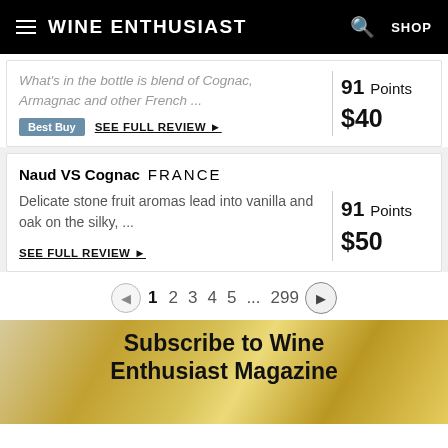Wine Enthusiast
What's in the bottle is blend of Cognac, Armagnac and other French ...
91 Points
$40
Best Buy   SEE FULL REVIEW ▶
Naud VS Cognac   FRANCE
Delicate stone fruit aromas lead into vanilla and oak on the silky, ...
91 Points
$50
SEE FULL REVIEW ▶
1  2  3  4  5  ...  299
Subscribe to Wine Enthusiast Magazine